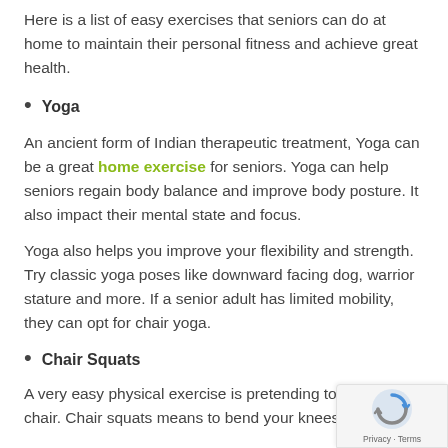Here is a list of easy exercises that seniors can do at home to maintain their personal fitness and achieve great health.
Yoga
An ancient form of Indian therapeutic treatment, Yoga can be a great home exercise for seniors. Yoga can help seniors regain body balance and improve body posture. It also impact their mental state and focus.
Yoga also helps you improve your flexibility and strength. Try classic yoga poses like downward facing dog, warrior stature and more. If a senior adult has limited mobility, they can opt for chair yoga.
Chair Squats
A very easy physical exercise is pretending to sit on a chair. Chair squats means to bend your knees,